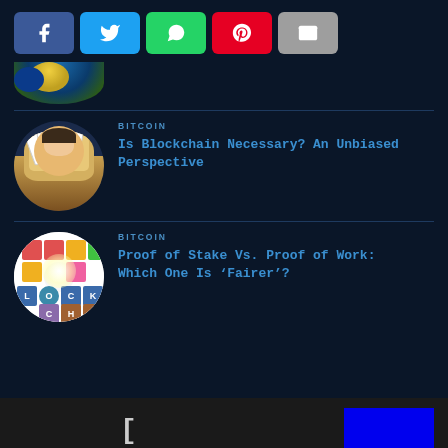[Figure (other): Social share buttons: Facebook (blue), Twitter (light blue), WhatsApp (green), Pinterest (red), Email (gray)]
[Figure (photo): Partial circular thumbnail showing a figure, partially cropped at top]
BITCOIN
Is Blockchain Necessary? An Unbiased Perspective
[Figure (illustration): Circular thumbnail showing a person holding playing cards, illustrated style]
BITCOIN
Proof of Stake Vs. Proof of Work: Which One Is ‘Fairer’?
[Figure (illustration): Circular thumbnail showing a word game / scrabble board with blockchain-related letters]
[Figure (other): Partial bottom image with a dark background, blue box on the right, and bracket symbol]